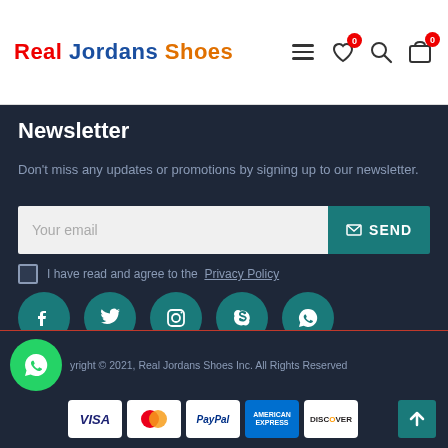Real Jordans Shoes
Newsletter
Don't miss any updates or promotions by signing up to our newsletter.
Your email  SEND
I have read and agree to the Privacy Policy
[Figure (infographic): Social media icons: Facebook, Twitter, Instagram, Skype, WhatsApp — teal circles]
Copyright © 2021, Real Jordans Shoes Inc. All Rights Reserved
[Figure (infographic): Payment method logos: VISA, Mastercard, PayPal, American Express, Discover]